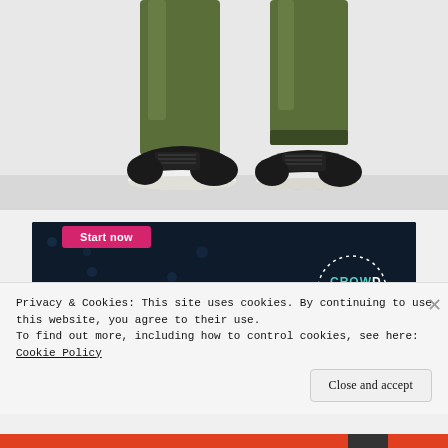[Figure (photo): Close-up photo of a person's legs from the knees down, wearing dark olive/green shiny athletic leggings and black athletic sneakers with white soles, standing on a light grey floor against a white background.]
[Figure (screenshot): Dark navy advertisement banner with a pink 'Start now' button and a dotted-circle logo reading 'CROWD' on the right side.]
Privacy & Cookies: This site uses cookies. By continuing to use this website, you agree to their use.
To find out more, including how to control cookies, see here: Cookie Policy
Close and accept